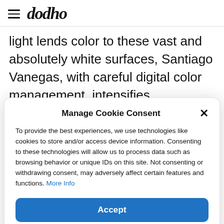dodho
light lends color to these vast and absolutely white surfaces, Santiago Vanegas, with careful digital color management, intensifies
Manage Cookie Consent
To provide the best experiences, we use technologies like cookies to store and/or access device information. Consenting to these technologies will allow us to process data such as browsing behavior or unique IDs on this site. Not consenting or withdrawing consent, may adversely affect certain features and functions. More Info
Accept